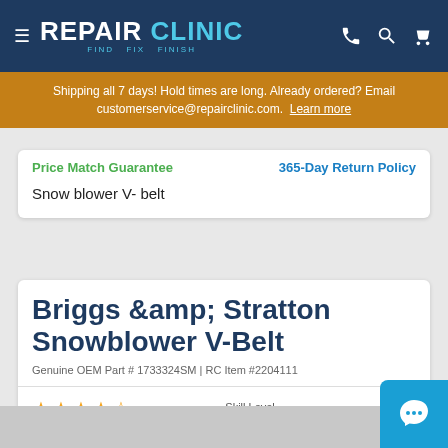REPAIR CLINIC — FIND. FIX. FINISH.
Shipping all 7 days! Hold times are long. Already ordered? Email customerservice@repairclinic.com. Learn more
Price Match Guarantee
365-Day Return Policy
Snow blower V- belt
Briggs &amp; Stratton Snowblower V-Belt
Genuine OEM Part # 1733324SM | RC Item #2204111
★★★★½  Skill Level ●●○○  Manufacturer Part